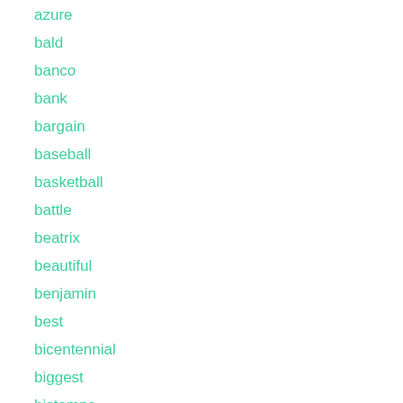azure
bald
banco
bank
bargain
baseball
basketball
battle
beatrix
beautiful
benjamin
best
bicentennial
biggest
bjstamps
bought
brand